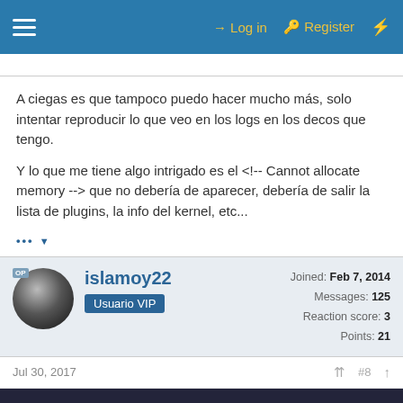Log in  Register
A ciegas es que tampoco puedo hacer mucho más, solo intentar reproducir lo que veo en los logs en los decos que tengo.
Y lo que me tiene algo intrigado es el <!-- Cannot allocate memory --> que no debería de aparecer, debería de salir la lista de plugins, la info del kernel, etc...
islamoy22
Usuario VIP
Joined: Feb 7, 2014
Messages: 125
Reaction score: 3
Points: 21
Jul 30, 2017  #8
This site uses cookies to help personalise content, tailor your experience and to keep you logged in if you register.
By continuing to use this site, you are consenting to our use of cookies.